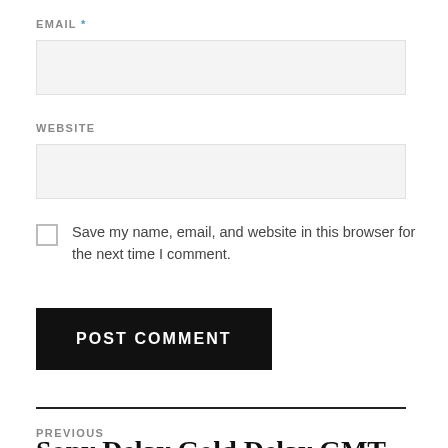EMAIL *
WEBSITE
Save my name, email, and website in this browser for the next time I comment.
POST COMMENT
PREVIOUS
Sony Delay Gold Delay GMT